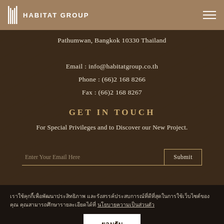HABITAT GROUP
Pathumwan, Bangkok 10330 Thailand
Email : info@habitatgroup.co.th
Phone : (66)2 168 8266
Fax : (66)2 168 8267
GET IN TOUCH
For Special Privileges and to Discover our New Project.
Enter Your Email Here    Submit
เราใช้คุกกี้เพื่อพัฒนาประสิทธิภาพ และรังสรรค์ประสบการณ์ที่ดีที่สุดในการใช้เว็บไซต์ของคุณ คุณสามารถศึกษารายละเอียดได้ที่ นโยบายความเป็นส่วนตัว
ยอมรับ